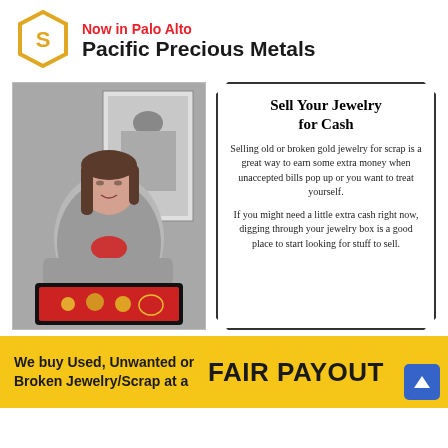[Figure (logo): Pacific Precious Metals circular logo with stylized S and P letters in gold/yellow outline on white background]
Now in Palo Alto
Pacific Precious Metals
[Figure (photo): Woman in grey blazer holding a black tray with red velvet lining displaying gold jewelry pieces, black and white photo background on wall behind her]
Sell Your Jewelry for Cash
Selling old or broken gold jewelry for scrap is a great way to earn some extra money when unaccepted bills pop up or you want to treat yourself.
If you might need a little extra cash right now, digging through your jewelry box is a good place to start looking for stuff to sell.
We buy Used, Unwanted or Broken Jewelry/Scrap at a
FAIR PAYOUT